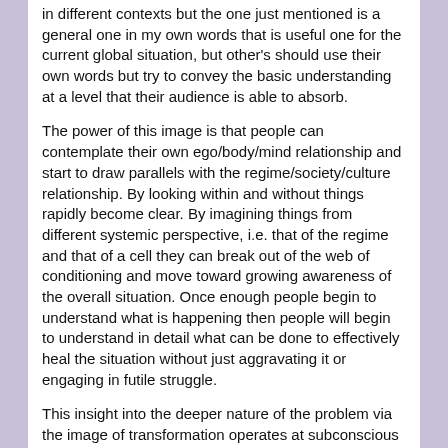in different contexts but the one just mentioned is a general one in my own words that is useful one for the current global situation, but other's should use their own words but try to convey the basic understanding at a level that their audience is able to absorb.
The power of this image is that people can contemplate their own ego/body/mind relationship and start to draw parallels with the regime/society/culture relationship. By looking within and without things rapidly become clear. By imagining things from different systemic perspective, i.e. that of the regime and that of a cell they can break out of the web of conditioning and move toward growing awareness of the overall situation. Once enough people begin to understand what is happening then people will begin to understand in detail what can be done to effectively heal the situation without just aggravating it or engaging in futile struggle.
This insight into the deeper nature of the problem via the image of transformation operates at subconscious levels and subtly restructures the way that people interpret the entire situation. As this "sinks in" people will gradually become more able to approach the rational arguments and evidence. Before long the situation will become obvious and undeniable to all but the most heavily conditioned